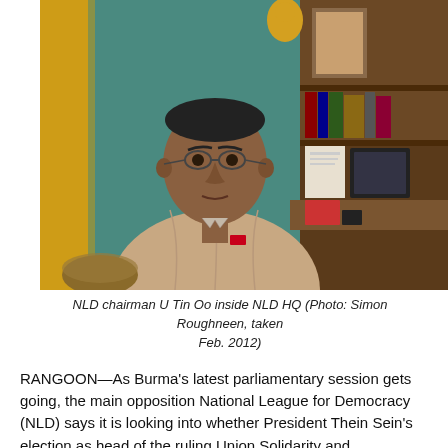[Figure (photo): Photograph of NLD chairman U Tin Oo seated inside NLD HQ, wearing a beige traditional shirt, with a desk, shelves, framed photos and a golden Buddha statue visible in the background.]
NLD chairman U Tin Oo inside NLD HQ (Photo: Simon Roughneen, taken Feb. 2012)
RANGOON—As Burma's latest parliamentary session gets going, the main opposition National League for Democracy (NLD) says it is looking into whether President Thein Sein's election as head of the ruling Union Solidarity and Development Party (USDP) breaches Burma's Constitution.
In an interview at the NLD headquarters in Burma's commercial capital Rangoon, Tin Oo—a senior member of the party regarded